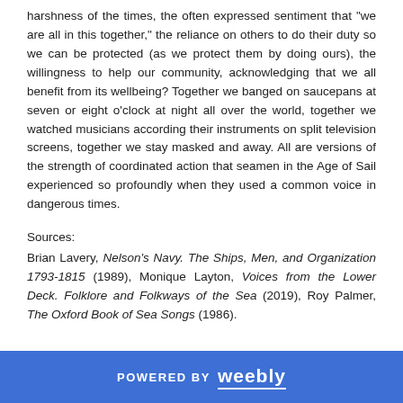harshness of the times, the often expressed sentiment that "we are all in this together," the reliance on others to do their duty so we can be protected (as we protect them by doing ours), the willingness to help our community, acknowledging that we all benefit from its wellbeing? Together we banged on saucepans at seven or eight o'clock at night all over the world, together we watched musicians according their instruments on split television screens, together we stay masked and away. All are versions of the strength of coordinated action that seamen in the Age of Sail experienced so profoundly when they used a common voice in dangerous times.
Sources:
Brian Lavery, Nelson's Navy. The Ships, Men, and Organization 1793-1815 (1989), Monique Layton, Voices from the Lower Deck. Folklore and Folkways of the Sea (2019), Roy Palmer, The Oxford Book of Sea Songs (1986).
POWERED BY weebly